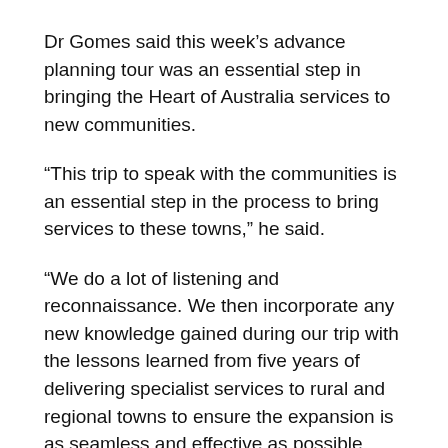Dr Gomes said this week's advance planning tour was an essential step in bringing the Heart of Australia services to new communities.
“This trip to speak with the communities is an essential step in the process to bring services to these towns,” he said.
“We do a lot of listening and reconnaissance. We then incorporate any new knowledge gained during our trip with the lessons learned from five years of delivering specialist services to rural and regional towns to ensure the expansion is as seamless and effective as possible.
“Taking specialists to regional and remote towns over the past five years has helped save more than 350 lives, and with our expansion into new towns, this number will only continue